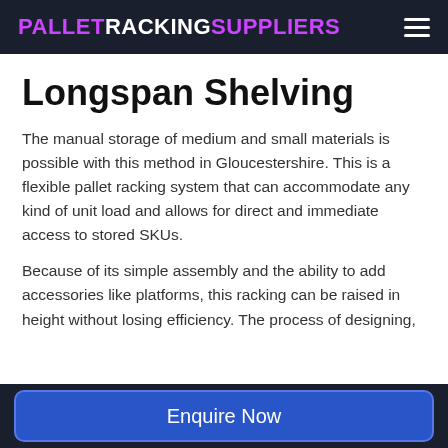PALLETRACKINGSUPPLIERS
Longspan Shelving
The manual storage of medium and small materials is possible with this method in Gloucestershire. This is a flexible pallet racking system that can accommodate any kind of unit load and allows for direct and immediate access to stored SKUs.
Because of its simple assembly and the ability to add accessories like platforms, this racking can be raised in height without losing efficiency. The process of designing,
Enquire Now